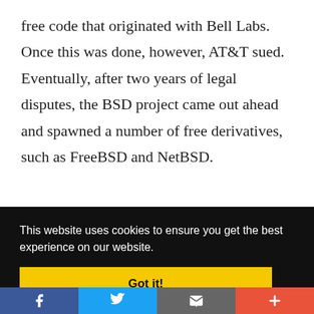free code that originated with Bell Labs. Once this was done, however, AT&T sued. Eventually, after two years of legal disputes, the BSD project came out ahead and spawned a number of free derivatives, such as FreeBSD and NetBSD.
This website uses cookies to ensure you get the best experience on our website.
Got it!
[Figure (other): Social sharing bar with Facebook, Twitter, email, and more (+) buttons]